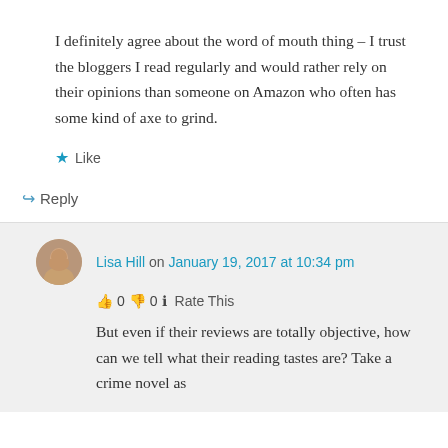I definitely agree about the word of mouth thing – I trust the bloggers I read regularly and would rather rely on their opinions than someone on Amazon who often has some kind of axe to grind.
★ Like
↪ Reply
Lisa Hill on January 19, 2017 at 10:34 pm
👍 0 👎 0 ℹ Rate This
But even if their reviews are totally objective, how can we tell what their reading tastes are? Take a crime novel as